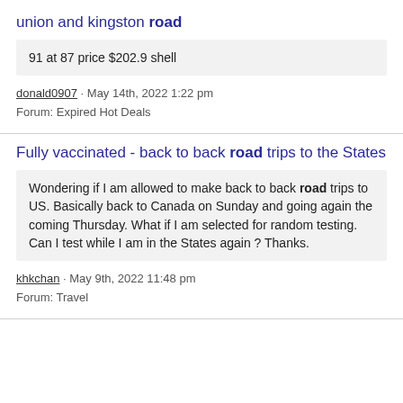union and kingston road
91 at 87 price $202.9 shell
donald0907 · May 14th, 2022 1:22 pm
Forum: Expired Hot Deals
Fully vaccinated - back to back road trips to the States
Wondering if I am allowed to make back to back road trips to US. Basically back to Canada on Sunday and going again the coming Thursday. What if I am selected for random testing. Can I test while I am in the States again ? Thanks.
khkchan · May 9th, 2022 11:48 pm
Forum: Travel